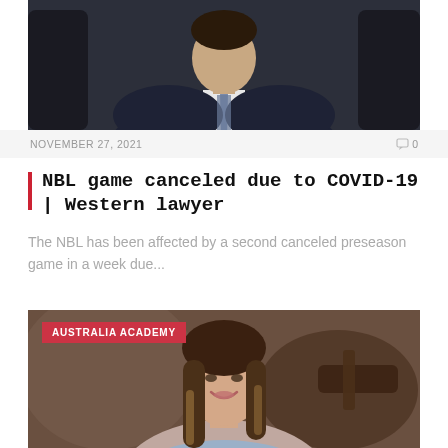[Figure (photo): Man in dark navy suit and tie seated in a chair, professional portrait photo]
NOVEMBER 27, 2021
0
NBL game canceled due to COVID-19 | Western lawyer
The NBL has been affected by a second canceled preseason game in a week due...
[Figure (photo): Young Asian woman with long hair smiling, professional photo in a legal setting with a gavel visible in background, tagged AUSTRALIA ACADEMY]
AUSTRALIA ACADEMY